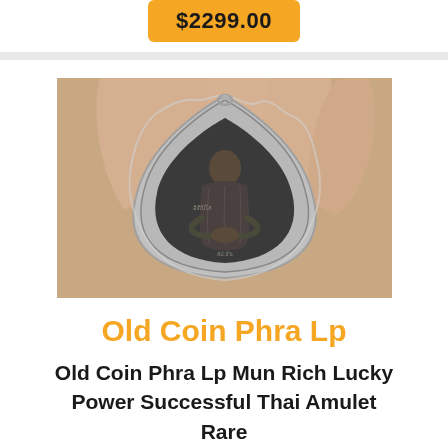$2299.00
[Figure (photo): Photo of a Thai Buddhist amulet coin featuring a monk in meditation pose, set in a teardrop-shaped silver casing, held in a person's hand]
Old Coin Phra Lp
Old Coin Phra Lp Mun Rich Lucky Power Successful Thai Amulet Rare